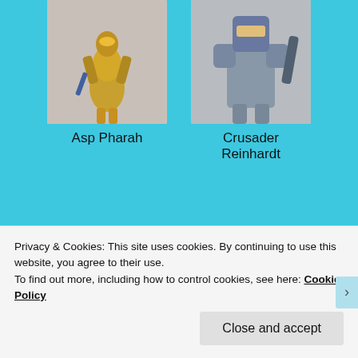[Figure (illustration): Asp Pharah character skin from Overwatch — golden armored character]
Asp Pharah
[Figure (illustration): Crusader Reinhardt character skin from Overwatch — silver armored giant]
Crusader Reinhardt
[Figure (illustration): Butcher Roadhog character skin from Overwatch — large heavy character with hook]
Butcher Roadhog
[Figure (illustration): Magni Torbjörn character skin from Overwatch — orange armored engineer]
Magni Torbjörn
Privacy & Cookies: This site uses cookies. By continuing to use this website, you agree to their use. To find out more, including how to control cookies, see here: Cookie Policy
Close and accept